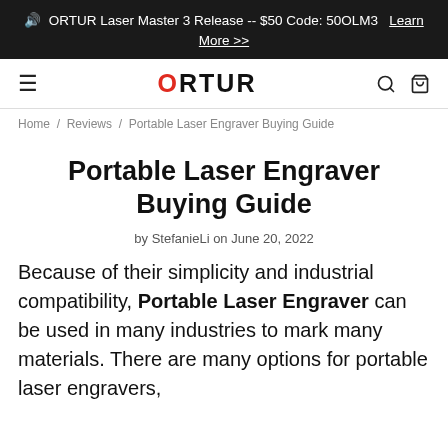🔊 ORTUR Laser Master 3 Release -- $50 Code: 50OLM3   Learn More >>
≡  ORTUR  🔍 🛍
Home / Reviews / Portable Laser Engraver Buying Guide
Portable Laser Engraver Buying Guide
by StefanieLi on June 20, 2022
Because of their simplicity and industrial compatibility, Portable Laser Engraver can be used in many industries to mark many materials. There are many options for portable laser engravers,